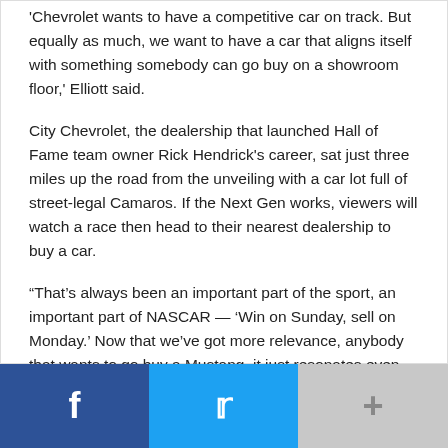'Chevrolet wants to have a competitive car on track. But equally as much, we want to have a car that aligns itself with something somebody can go buy on a showroom floor,' Elliott said.
City Chevrolet, the dealership that launched Hall of Fame team owner Rick Hendrick's career, sat just three miles up the road from the unveiling with a car lot full of street-legal Camaros. If the Next Gen works, viewers will watch a race then head to their nearest dealership to buy a car.
“That’s always been an important part of the sport, an important part of NASCAR — ‘Win on Sunday, sell on Monday.’ Now that we’ve got more relevance, anybody that wants to go buy a Mustang, it just resonates even more for them,” said Mark Rushbrook, global director at Ford Performance Motorsports.
NUTS AND BOLTS
[Figure (other): Social sharing bar with Facebook, Twitter, and more buttons]